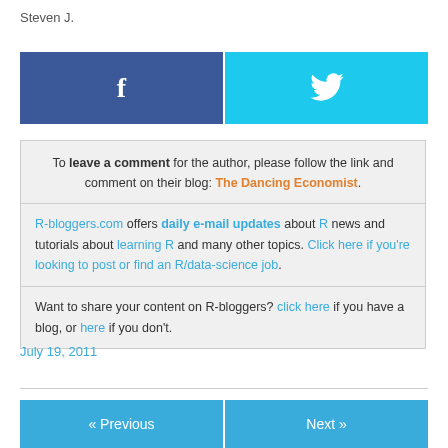Steven J.
[Figure (infographic): Facebook and Twitter social share buttons side by side]
To leave a comment for the author, please follow the link and comment on their blog: The Dancing Economist.
R-bloggers.com offers daily e-mail updates about R news and tutorials about learning R and many other topics. Click here if you're looking to post or find an R/data-science job.
Want to share your content on R-bloggers? click here if you have a blog, or here if you don't.
July 19, 2011
[Figure (infographic): Previous and Next navigation buttons side by side]